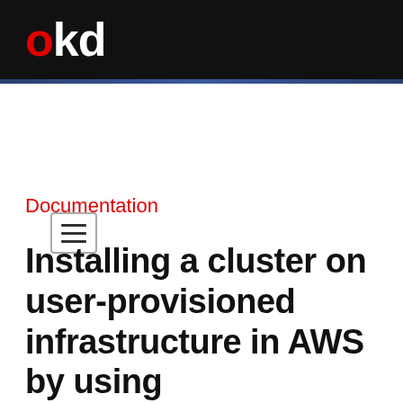okd
[Figure (other): Hamburger menu icon button with three horizontal lines inside a bordered rectangle]
Documentation
Installing a cluster on user-provisioned infrastructure in AWS by using CloudFormation templates